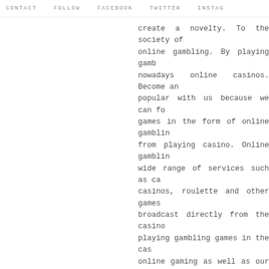CONTACT   FOLLOW   FACEBOOK   TWITTER   INSTAG...
create a novelty. To the society of online gambling. By playing gamb... nowadays online casinos. Become an popular with us because we can fo... games in the form of online gamblin... from playing casino. Online gamblin... wide range of services such as ca... casinos, roulette and other games... broadcast directly from the casino... playing gambling games in the cas... online gaming as well as our websi... stability. All players are confid... online. Safely at our siteRoyal1688
Reply
Unknown September 17, 2017 at 10:34
More Betting Games